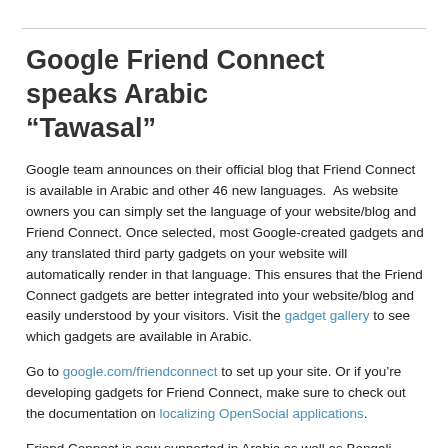Google Friend Connect speaks Arabic “Tawasal”
Google team announces on their official blog that Friend Connect is available in Arabic and other 46 new languages.  As website owners you can simply set the language of your website/blog and Friend Connect. Once selected, most Google-created gadgets and any translated third party gadgets on your website will automatically render in that language. This ensures that the Friend Connect gadgets are better integrated into your website/blog and easily understood by your visitors. Visit the gadget gallery to see which gadgets are available in Arabic.
Go to google.com/friendconnect to set up your site. Or if you’re developing gadgets for Friend Connect, make sure to check out the documentation on localizing OpenSocial applications.
Friend Connect is now supported in Arabic as well as Bengali, Bulgarian, Catalan, Chinese, Croatian, Czech, Danish, Dutch, English, Filipino, Finnish, French, German, Greek, Gujarati, Hebrew, Hindi,